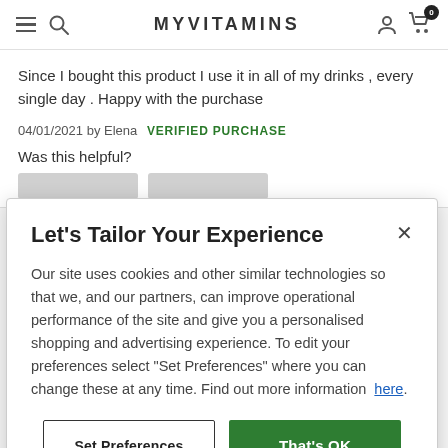MYVITAMINS
Since I bought this product I use it in all of my drinks , every single day . Happy with the purchase
04/01/2021 by Elena   VERIFIED PURCHASE
Was this helpful?
Let's Tailor Your Experience
Our site uses cookies and other similar technologies so that we, and our partners, can improve operational performance of the site and give you a personalised shopping and advertising experience. To edit your preferences select "Set Preferences" where you can change these at any time. Find out more information  here.
Set Preferences
That's OK